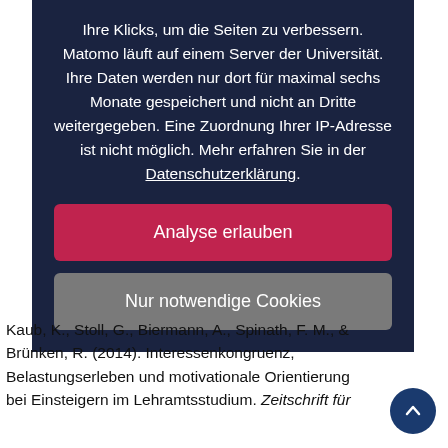Ihre Klicks, um die Seiten zu verbessern. Matomo läuft auf einem Server der Universität. Ihre Daten werden nur dort für maximal sechs Monate gespeichert und nicht an Dritte weitergegeben. Eine Zuordnung Ihrer IP-Adresse ist nicht möglich. Mehr erfahren Sie in der Datenschutzerklärung.
Analyse erlauben
Nur notwendige Cookies
Kaub, K., Stoll, G., Biermann, A., Spinath, F. M., & Brünken, R. (2014). Interessenkongruenz, Belastungserleben und motivationale Orientierung bei Einsteigern im Lehramtsstudium. Zeitschrift für...